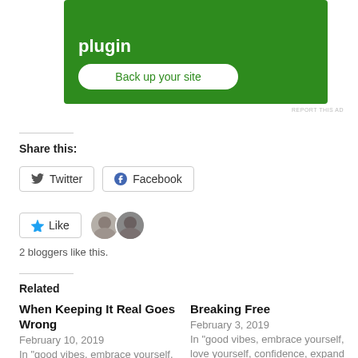[Figure (screenshot): Green advertisement banner with white bold text 'plugin' and a white 'Back up your site' button]
REPORT THIS AD
Share this:
Twitter
Facebook
Like
2 bloggers like this.
Related
When Keeping It Real Goes Wrong
February 10, 2019
In "good vibes, embrace yourself, love yourself,
Breaking Free
February 3, 2019
In "good vibes, embrace yourself, love yourself, confidence, expand your mind"